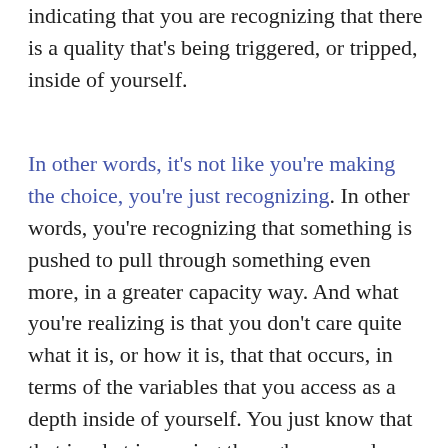indicating that you are recognizing that there is a quality that's being triggered, or tripped, inside of yourself.
In other words, it's not like you're making the choice, you're just recognizing. In other words, you're recognizing that something is pushed to pull through something even more, in a greater capacity way. And what you're realizing is that you don't care quite what it is, or how it is, that that occurs, in terms of the variables that you access as a depth inside of yourself. You just know that that is what is coming through you, and even though that may be surprising to you, or even something that you wouldn't ordinarily do, you're realizing that you have to do that. In other words, you're realizing that you've come to